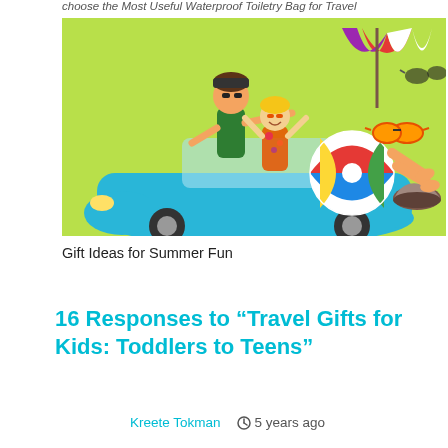choose the Most Useful Waterproof Toiletry Bag for Travel
[Figure (illustration): Cartoon illustration of a family in a convertible car on a road trip, with a beach ball, umbrella, sunglasses, and shoe flying out of the car. Green background.]
Gift Ideas for Summer Fun
16 Responses to “Travel Gifts for Kids: Toddlers to Teens”
Kreete Tokman   ⏰ 5 years ago